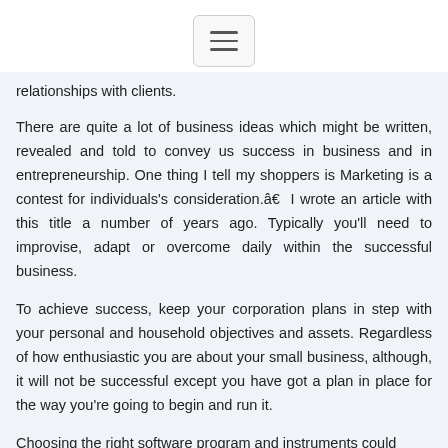[hamburger menu icon]
relationships with clients.
There are quite a lot of business ideas which might be written, revealed and told to convey us success in business and in entrepreneurship. One thing I tell my shoppers is Marketing is a contest for individuals's consideration.â€  I wrote an article with this title a number of years ago. Typically you'll need to improvise, adapt or overcome daily within the successful business.
To achieve success, keep your corporation plans in step with your personal and household objectives and assets. Regardless of how enthusiastic you are about your small business, although, it will not be successful except you have got a plan in place for the way you're going to begin and run it.
Choosing the right software program and instruments could